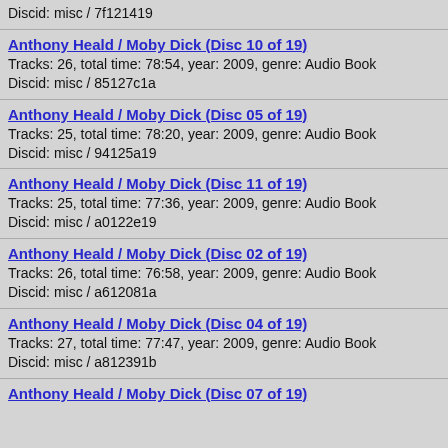Discid: misc / 7f121419
Anthony Heald / Moby Dick (Disc 10 of 19)
Tracks: 26, total time: 78:54, year: 2009, genre: Audio Book
Discid: misc / 85127c1a
Anthony Heald / Moby Dick (Disc 05 of 19)
Tracks: 25, total time: 78:20, year: 2009, genre: Audio Book
Discid: misc / 94125a19
Anthony Heald / Moby Dick (Disc 11 of 19)
Tracks: 25, total time: 77:36, year: 2009, genre: Audio Book
Discid: misc / a0122e19
Anthony Heald / Moby Dick (Disc 02 of 19)
Tracks: 26, total time: 76:58, year: 2009, genre: Audio Book
Discid: misc / a612081a
Anthony Heald / Moby Dick (Disc 04 of 19)
Tracks: 27, total time: 77:47, year: 2009, genre: Audio Book
Discid: misc / a812391b
Anthony Heald / Moby Dick (Disc 07 of 19)